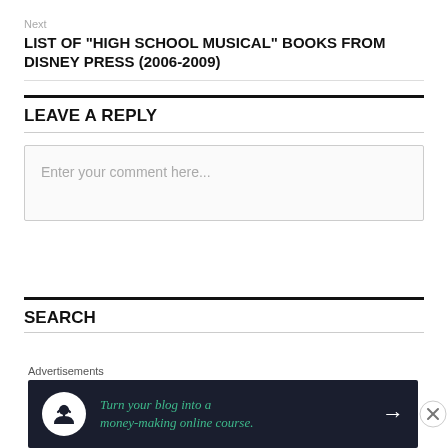Next
LIST OF “HIGH SCHOOL MUSICAL” BOOKS FROM DISNEY PRESS (2006-2009)
LEAVE A REPLY
[Figure (other): Comment text input box with placeholder text 'Enter your comment here...']
SEARCH
Advertisements
[Figure (infographic): Dark banner advertisement: 'Turn your blog into a money-making online course.' with arrow button and person/upload icon]